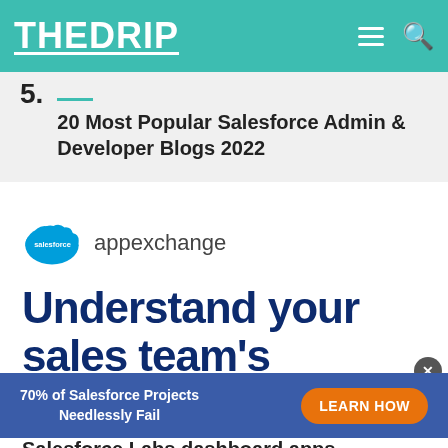THE DRIP
5. 20 Most Popular Salesforce Admin & Developer Blogs 2022
[Figure (logo): Salesforce AppExchange logo with blue cloud icon and 'salesforce appexchange' text]
Understand your sales team's
70% of Salesforce Projects Needlessly Fail
LEARN HOW
Salesforce Labs dashboard apps.